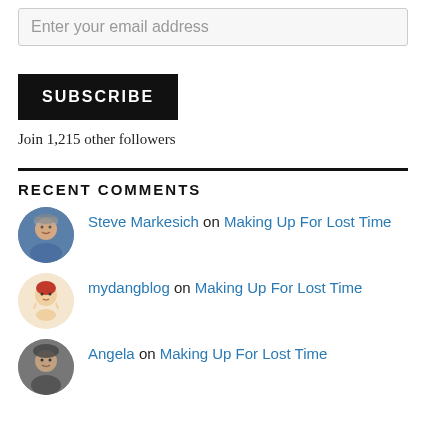Enter your email address
SUBSCRIBE
Join 1,215 other followers
RECENT COMMENTS
Steve Markesich on Making Up For Lost Time
mydangblog on Making Up For Lost Time
Angela on Making Up For Lost Time